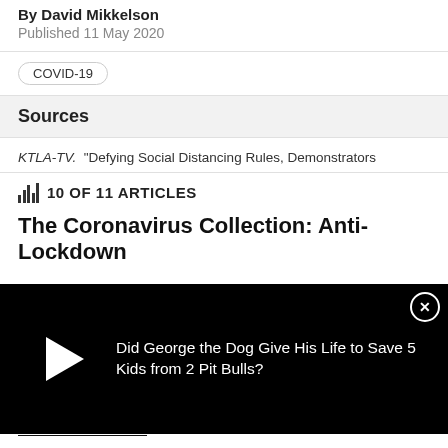By David Mikkelson
Published 11 May 2020
COVID-19
Sources
KTLA-TV. “Defying Social Distancing Rules, Demonstrators
10 OF 11 ARTICLES
The Coronavirus Collection: Anti-Lockdown
[Figure (screenshot): Video player overlay on black background with play button and title: Did George the Dog Give His Life to Save 5 Kids from 2 Pit Bulls? with a close (X) button]
whole collection.